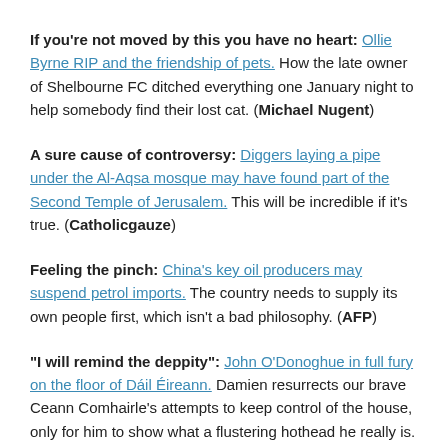If you're not moved by this you have no heart: Ollie Byrne RIP and the friendship of pets. How the late owner of Shelbourne FC ditched everything one January night to help somebody find their lost cat. (Michael Nugent)
A sure cause of controversy: Diggers laying a pipe under the Al-Aqsa mosque may have found part of the Second Temple of Jerusalem. This will be incredible if it's true. (Catholicgauze)
Feeling the pinch: China's key oil producers may suspend petrol imports. The country needs to supply its own people first, which isn't a bad philosophy. (AFP)
"I will remind the deppity": John O'Donoghue in full fury on the floor of Dáil Éireann. Damien resurrects our brave Ceann Comhairle's attempts to keep control of the house, only for him to show what a flustering hothead he really is. (Damien